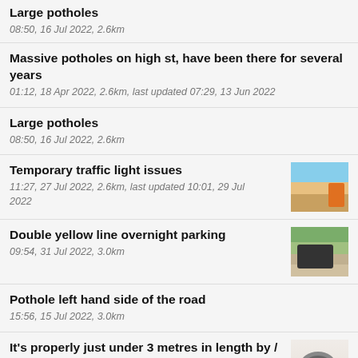Large potholes
08:50, 16 Jul 2022, 2.6km
Massive potholes on high st, have been there for several years
01:12, 18 Apr 2022, 2.6km, last updated 07:29, 13 Jun 2022
Large potholes
08:50, 16 Jul 2022, 2.6km
Temporary traffic light issues
11:27, 27 Jul 2022, 2.6km, last updated 10:01, 29 Jul 2022
Double yellow line overnight parking
09:54, 31 Jul 2022, 3.0km
Pothole left hand side of the road
15:56, 15 Jul 2022, 3.0km
It's properly just under 3 metres in length by / 1.5 metre wide
10:24, 11 Mar 2022, 3.0km, last updated 12:00, 8 Apr